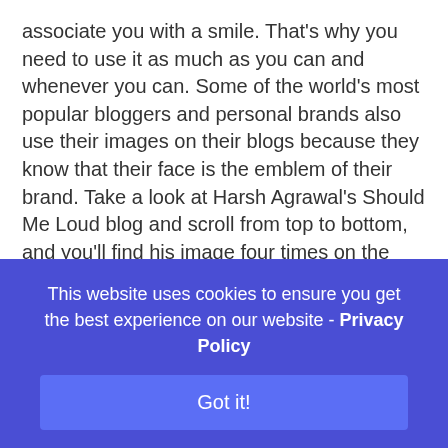associate you with a smile. That's why you need to use it as much as you can and whenever you can. Some of the world's most popular bloggers and personal brands also use their images on their blogs because they know that their face is the emblem of their brand. Take a look at Harsh Agrawal's Should Me Loud blog and scroll from top to bottom, and you'll find his image four times on the same post.
Rename Your Images
This website uses cookies to ensure you get the best experience on our website - Privacy Policy
Got it!